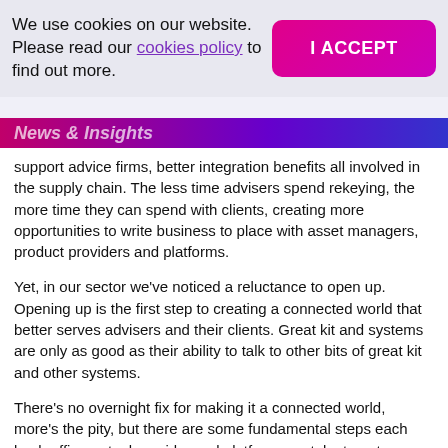We use cookies on our website. Please read our cookies policy to find out more.
I ACCEPT
News & Insights
support advice firms, better integration benefits all involved in the supply chain. The less time advisers spend rekeying, the more time they can spend with clients, creating more opportunities to write business to place with asset managers, product providers and platforms.
Yet, in our sector we've noticed a reluctance to open up. Opening up is the first step to creating a connected world that better serves advisers and their clients. Great kit and systems are only as good as their ability to talk to other bits of great kit and other systems.
There's no overnight fix for making it a connected world, more's the pity, but there are some fundamental steps each back-office or tool provider and platform can take to get us closer to that reality. It's a case of prioritising the stuff that makes a genuine difference. And opening up is the first step.
You can't bemoan the lack of connectedness, all the while